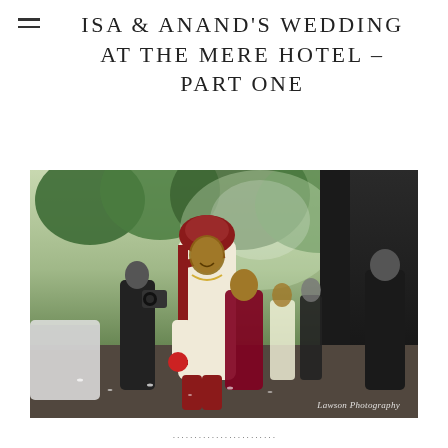ISA & ANAND'S WEDDING AT THE MERE HOTEL – PART ONE
[Figure (photo): A smiling groom in traditional Indian wedding attire — white sherwani, dark red dupatta, and a dark red sehra turban — walks surrounded by wedding guests and photographers outside The Mere Hotel. Trees and cars are visible in the background. A watermark reads 'Lawson Photography' in the bottom right corner.]
...